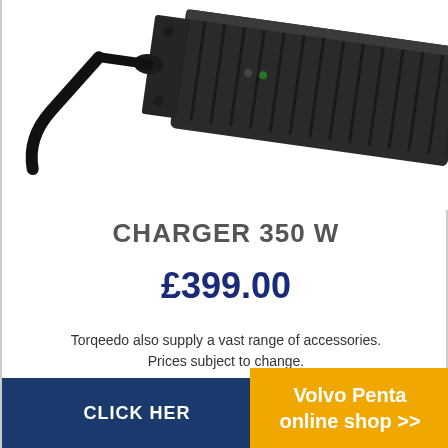[Figure (photo): Photo of a black Torqeedo 350W charger device with cables, viewed from above at an angle against a white background.]
CHARGER 350 W
£399.00
Torqeedo also supply a vast range of accessories.  Prices subject to change.
CLICK HERE
Volvo Penta online shop >>